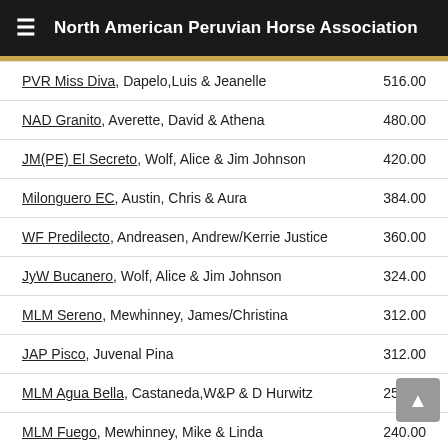North American Peruvian Horse Association
| Name | Amount |
| --- | --- |
| PVR Miss Diva, Dapelo,Luis & Jeanelle | 516.00 |
| NAD Granito, Averette, David & Athena | 480.00 |
| JM(PE) El Secreto, Wolf, Alice & Jim Johnson | 420.00 |
| Milonguero EC, Austin, Chris & Aura | 384.00 |
| WF Predilecto, Andreasen, Andrew/Kerrie Justice | 360.00 |
| JyW Bucanero, Wolf, Alice & Jim Johnson | 324.00 |
| MLM Sereno, Mewhinney, James/Christina | 312.00 |
| JAP Pisco, Juvenal Pina | 312.00 |
| MLM Agua Bella, Castaneda,W&P & D Hurwitz | 252.00 |
| MLM Fuego, Mewhinney, Mike & Linda | 240.00 |
| Preciosa EC E.T., Austin Family | 240.00 |